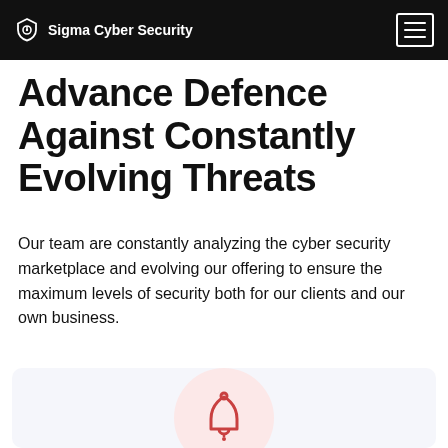Sigma Cyber Security
Advance Defence Against Constantly Evolving Threats
Our team are constantly analyzing the cyber security marketplace and evolving our offering to ensure the maximum levels of security both for our clients and our own business.
[Figure (illustration): Bell notification icon inside a pink circle, on a light lavender card background]